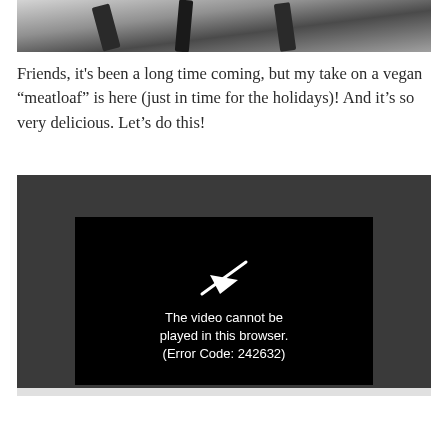[Figure (photo): Top portion of a food photo showing dark metallic/kitchen elements on a light background, partially cropped]
Friends, it's been a long time coming, but my take on a vegan “meatloaf” is here (just in time for the holidays)! And it’s so very delicious. Let’s do this!
[Figure (screenshot): Video player showing error message: 'The video cannot be played in this browser. (Error Code: 242632)' on a dark gray background with a black video frame containing a white play/arrow icon]